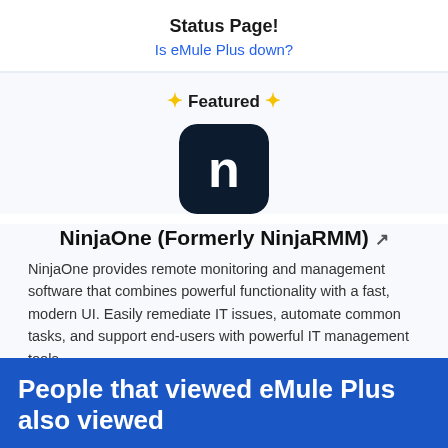Status Page!
Is eMule Plus down?
[Figure (logo): NinjaOne logo: dark navy rounded square with white letter n]
✨ Featured ✨
NinjaOne (Formerly NinjaRMM) ↗
NinjaOne provides remote monitoring and management software that combines powerful functionality with a fast, modern UI. Easily remediate IT issues, automate common tasks, and support end-users with powerful IT management tools.
People that viewed eMule Plus also viewed